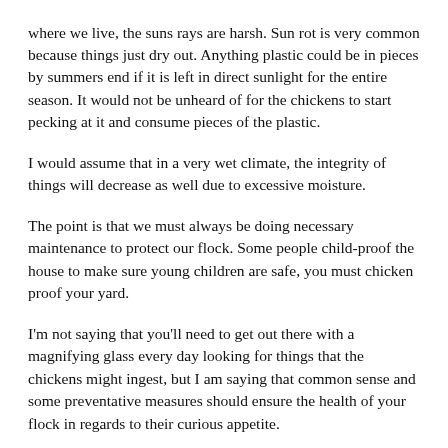where we live, the suns rays are harsh. Sun rot is very common because things just dry out. Anything plastic could be in pieces by summers end if it is left in direct sunlight for the entire season. It would not be unheard of for the chickens to start pecking at it and consume pieces of the plastic.
I would assume that in a very wet climate, the integrity of things will decrease as well due to excessive moisture.
The point is that we must always be doing necessary maintenance to protect our flock. Some people child-proof the house to make sure young children are safe, you must chicken proof your yard.
I'm not saying that you'll need to get out there with a magnifying glass every day looking for things that the chickens might ingest, but I am saying that common sense and some preventative measures should ensure the health of your flock in regards to their curious appetite.
The other issue I want to address is for those of you who have written in with questions about suspected illnesses within your